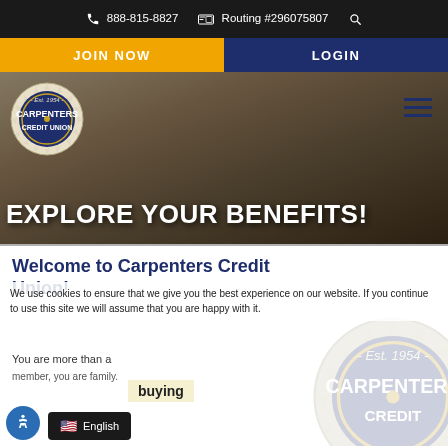888-815-8827   Routing #296075807
JOIN NOW
LOGIN
[Figure (screenshot): Carpenters Credit Union logo on hero banner with carpenter tools background]
EXPLORE YOUR BENEFITS!
Welcome to Carpenters Credit Union!
We use cookies to ensure that we give you the best experience on our website. If you continue to use this site we will assume that you are happy with it.
You are more than a member, you are family.
buying
English
[Figure (logo): Carpenters Credit Union logo watermark - Est. 1954 circular saw blade logo]